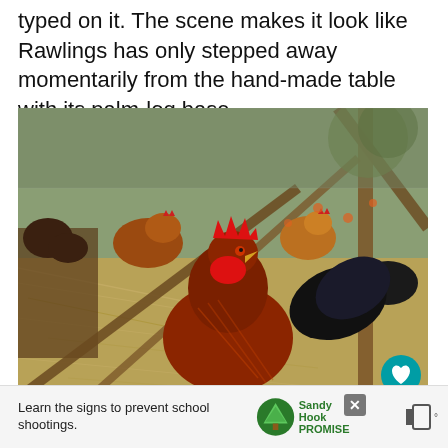typed on it. The scene makes it look like Rawlings has only stepped away momentarily from the hand-made table with its palm-log base.
[Figure (photo): Photograph of a rooster with a vivid red comb and wattle in the foreground inside a chicken coop with hay on the ground. Several brown hens are visible in the background. Wooden fence rails cross through the enclosure. A heart icon button (teal) and a share icon button (white) are overlaid on the right side of the image.]
[Figure (infographic): Advertisement banner at the bottom: white background with a close (X) button in the upper right area. Text reads 'Learn the signs to prevent school shootings.' with a Sandy Hook Promise logo (green tree icon) on the right side. A mute/settings icon appears at far right.]